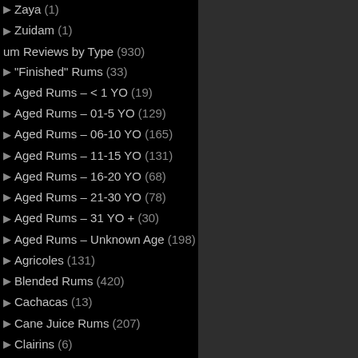Zaya (1)
Zuidam (1)
um Reviews by Type (930)
"Finished" Rums (33)
Aged Rums – < 1 YO (19)
Aged Rums – 01-5 YO (129)
Aged Rums – 06-10 YO (165)
Aged Rums – 11-15 YO (131)
Aged Rums – 16-20 YO (68)
Aged Rums – 21-30 YO (78)
Aged Rums – 31 YO + (30)
Aged Rums – Unknown Age (198)
Agricoles (131)
Blended Rums (420)
Cachacas (13)
Cane Juice Rums (207)
Clairins (6)
Column Still Rums (433)
Double Distilled (10)
Double Matured (24)
Grogues (3)